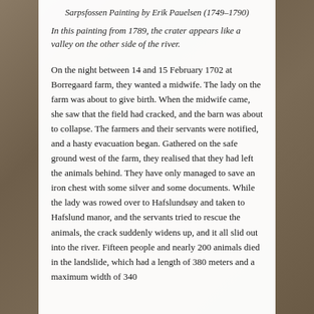Sarpsfossen Painting by Erik Pauelsen (1749–1790)
In this painting from 1789, the crater appears like a valley on the other side of the river.
On the night between 14 and 15 February 1702 at Borregaard farm, they wanted a midwife. The lady on the farm was about to give birth. When the midwife came, she saw that the field had cracked, and the barn was about to collapse. The farmers and their servants were notified, and a hasty evacuation began. Gathered on the safe ground west of the farm, they realised that they had left the animals behind. They have only managed to save an iron chest with some silver and some documents. While the lady was rowed over to Hafslundsøy and taken to Hafslund manor, and the servants tried to rescue the animals, the crack suddenly widens up, and it all slid out into the river. Fifteen people and nearly 200 animals died in the landslide, which had a length of 380 meters and a maximum width of 340